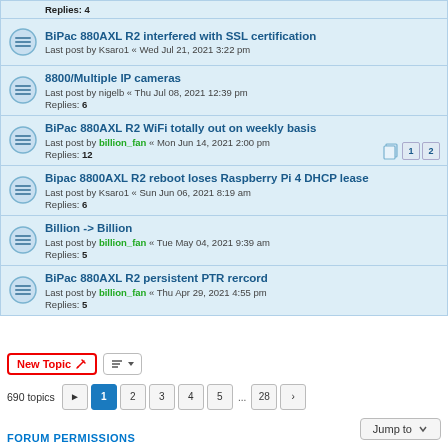Replies: 4
BiPac 880AXL R2 interfered with SSL certification
Last post by Ksaro1 « Wed Jul 21, 2021 3:22 pm
8800/Multiple IP cameras
Last post by nigelb « Thu Jul 08, 2021 12:39 pm
Replies: 6
BiPac 880AXL R2 WiFi totally out on weekly basis
Last post by billion_fan « Mon Jun 14, 2021 2:00 pm
Replies: 12
Bipac 8800AXL R2 reboot loses Raspberry Pi 4 DHCP lease
Last post by Ksaro1 « Sun Jun 06, 2021 8:19 am
Replies: 6
Billion -> Billion
Last post by billion_fan « Tue May 04, 2021 9:39 am
Replies: 5
BiPac 880AXL R2 persistent PTR rercord
Last post by billion_fan « Thu Apr 29, 2021 4:55 pm
Replies: 5
New Topic
690 topics   1  2  3  4  5  ...  28
Jump to
FORUM PERMISSIONS